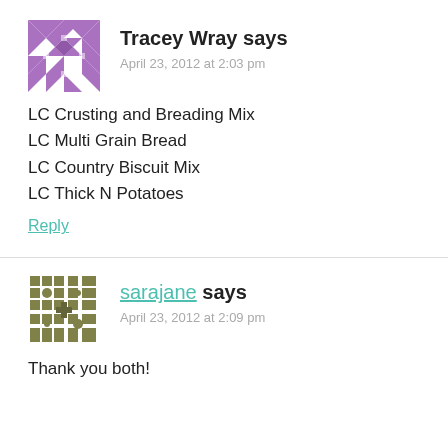[Figure (illustration): Purple geometric quilt-pattern avatar for Tracey Wray]
Tracey Wray says
April 23, 2012 at 2:03 pm
LC Crusting and Breading Mix
LC Multi Grain Bread
LC Country Biscuit Mix
LC Thick N Potatoes
Reply
[Figure (illustration): Olive/brown geometric quilt-pattern avatar for sarajane]
sarajane says
April 23, 2012 at 2:09 pm
Thank you both!